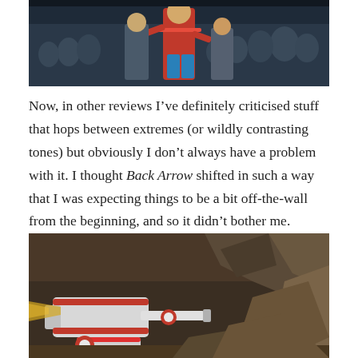[Figure (illustration): Anime screenshot showing a group of characters including a person in a red outfit with hands on hips, surrounded by a crowd, against a dark background]
Now, in other reviews I’ve definitely criticised stuff that hops between extremes (or wildly contrasting tones) but obviously I don’t always have a problem with it. I thought Back Arrow shifted in such a way that I was expecting things to be a bit off-the-wall from the beginning, and so it didn’t bother me.
[Figure (illustration): Anime screenshot showing a white and red mecha/robot weapon on rocky terrain with dark rocky background and dramatic lighting]